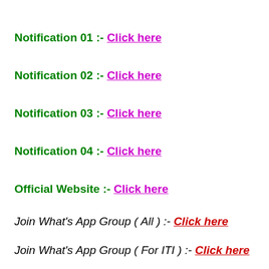Notification 01 :- Click here
Notification 02 :- Click here
Notification 03 :- Click here
Notification 04 :- Click here
Official Website :- Click here
Join What's App Group ( All ) :- Click here
Join What's App Group ( For ITI ) :- Click here
Join What's App Group ( For Diploma ) :- Click here